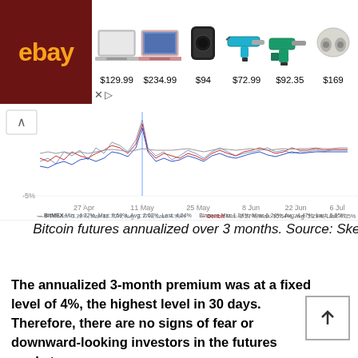[Figure (screenshot): eBay advertisement banner showing products with prices: laptop $129.99, laptop $234.99, Bose speaker $94, power tool $72.99, drill set $92.35, earbuds $169]
[Figure (line-chart): Bitcoin futures annualized basis chart showing multiple exchange lines (FTX, Deribit, BitMEX, Binance) over time from 27 Apr to 6 Jul. Legend: FTX Min:-3.22% Max:12.70% Avg:3.77% Last:4.99%; Deribit Min:-2.27% Max:10.54% Avg:3.29% Last:4.35%; BitMEX Min:-4.72% Max:9.59% Avg:2.03% Last:4.24%; Binance Min:1.84% Max:6.24% Avg:4.47% Last:5.05%]
Bitcoin futures annualized over 3 months. Source: Skew
The annualized 3-month premium was at a fixed level of 4%, the highest level in 30 days. Therefore, there are no signs of fear or downward-looking investors in the futures markets.